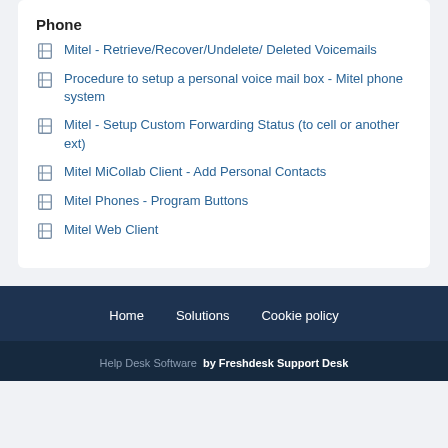Phone
Mitel - Retrieve/Recover/Undelete/ Deleted Voicemails
Procedure to setup a personal voice mail box - Mitel phone system
Mitel - Setup Custom Forwarding Status (to cell or another ext)
Mitel MiCollab Client - Add Personal Contacts
Mitel Phones - Program Buttons
Mitel Web Client
Home  Solutions  Cookie policy
Help Desk Software by Freshdesk Support Desk